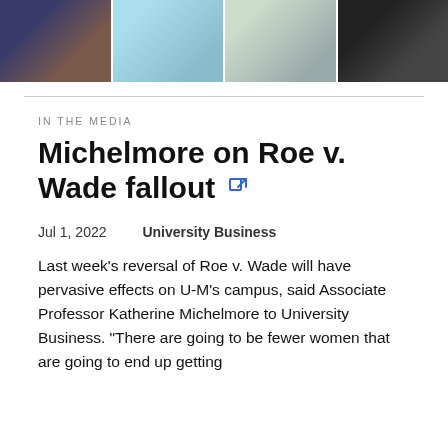[Figure (photo): Strip of four portrait photos of people, partially cropped from above]
IN THE MEDIA
Michelmore on Roe v. Wade fallout
Jul 1, 2022    University Business
Last week's reversal of Roe v. Wade will have pervasive effects on U-M's campus, said Associate Professor Katherine Michelmore to University Business. "There are going to be fewer women that are going to end up getting